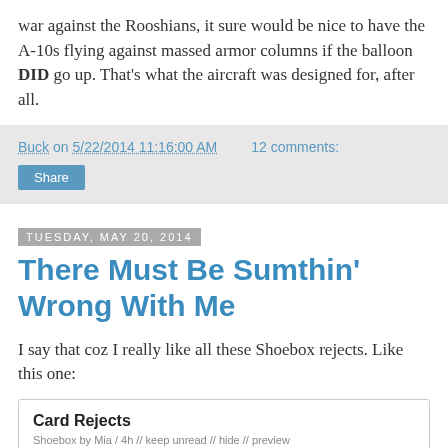war against the Rooshians, it sure would be nice to have the A-10s flying against massed armor columns if the balloon DID go up.  That's what the aircraft was designed for, after all.
Buck on 5/22/2014 11:16:00 AM    12 comments:
Share
Tuesday, May 20, 2014
There Must Be Sumthin' Wrong With Me
I say that coz I really like all these Shoebox rejects.  Like this one:
Card Rejects
Shoebox by Mia / 4h // keep unread // hide // preview